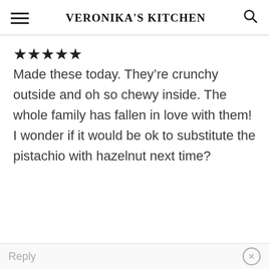VERONIKA'S KITCHEN
★★★★★
Made these today. They're crunchy outside and oh so chewy inside. The whole family has fallen in love with them! I wonder if it would be ok to substitute the pistachio with hazelnut next time?
Reply